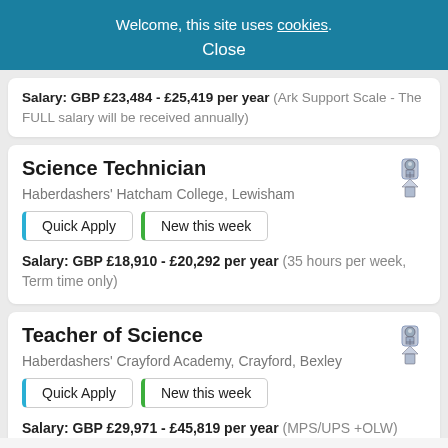Welcome, this site uses cookies. Close
Salary: GBP £23,484 - £25,419 per year (Ark Support Scale - The FULL salary will be received annually)
Science Technician
Haberdashers' Hatcham College, Lewisham
Quick Apply | New this week
Salary: GBP £18,910 - £20,292 per year (35 hours per week, Term time only)
Teacher of Science
Haberdashers' Crayford Academy, Crayford, Bexley
Quick Apply | New this week
Salary: GBP £29,971 - £45,819 per year (MPS/UPS +OLW)